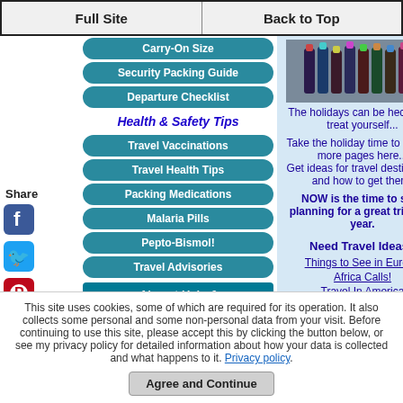Full Site | Back to Top
Carry-On Size
Security Packing Guide
Departure Checklist
Health & Safety Tips
Travel Vaccinations
Travel Health Tips
Packing Medications
Malaria Pills
Pepto-Bismol!
Travel Advisories
Airport Help & Surviving Flights
[Figure (photo): Photo of luggage/bottles at an airport]
The holidays can be hectic, but treat yourself...
Take the holiday time to explore more pages here... Get ideas for travel destinations and how to get there.
NOW is the time to start planning for a great trip next year.
Need Travel Ideas?
Things to See in Europe
Africa Calls!
Travel In America
Don't just dream about it...
This site uses cookies, some of which are required for its operation. It also collects some personal and some non-personal data from your visit. Before continuing to use this site, please accept this by clicking the button below, or see my privacy policy for detailed information about how your data is collected and what happens to it. Privacy policy.
Agree and Continue